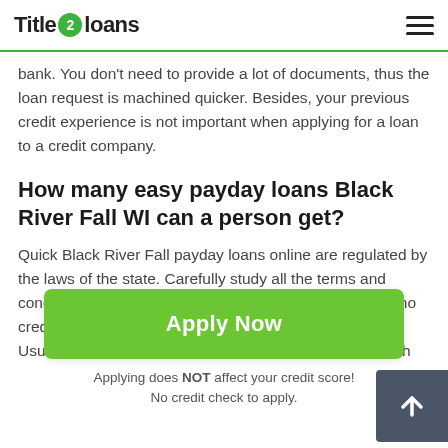Title 2 loans
bank. You don't need to provide a lot of documents, thus the loan request is machined quicker. Besides, your previous credit experience is not important when applying for a loan to a credit company.
How many easy payday loans Black River Fall WI can a person get?
Quick Black River Fall payday loans online are regulated by the laws of the state. Carefully study all the terms and conditions needed to get payday loans Black River Fall no credit check. One borrower can get only one payday c... Usually, you need to cover it within a period of one month
[Figure (other): Scroll-to-top button (dark grey square with upward arrow icon)]
Apply Now
Applying does NOT affect your credit score!
No credit check to apply.